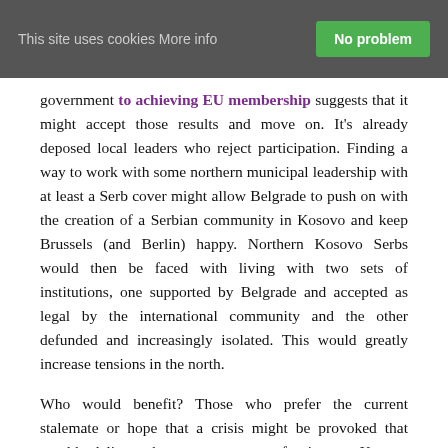This site uses cookies More info | No problem
government to achieving EU membership suggests that it might accept those results and move on. It's already deposed local leaders who reject participation. Finding a way to work with some northern municipal leadership with at least a Serb cover might allow Belgrade to push on with the creation of a Serbian community in Kosovo and keep Brussels (and Berlin) happy. Northern Kosovo Serbs would then be faced with living with two sets of institutions, one supported by Belgrade and accepted as legal by the international community and the other defunded and increasingly isolated. This would greatly increase tensions in the north.
Who would benefit? Those who prefer the current stalemate or hope that a crisis might be provoked that would deliver them some sort of victory. Kosovo Albanians would still prefer to have the whole north without any complications from compromise with Serbia. Conflict – renewed violence – might